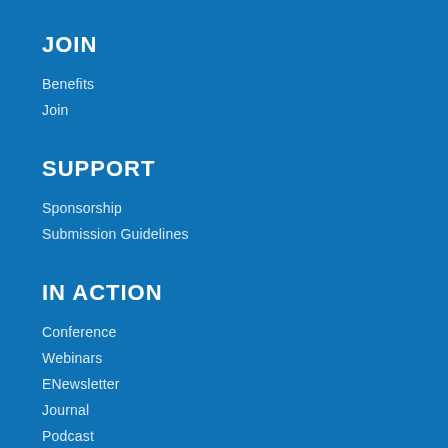JOIN
Benefits
Join
SUPPORT
Sponsorship
Submission Guidelines
IN ACTION
Conference
Webinars
ENewsletter
Journal
Podcast
Surveys